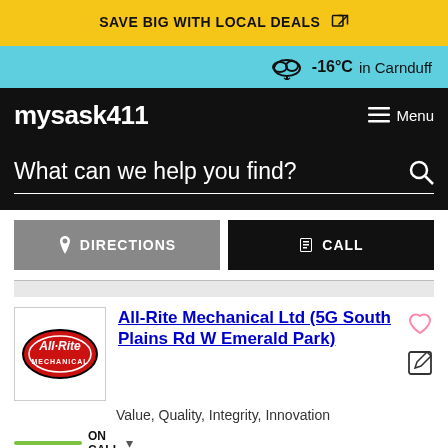SAVE BIG WITH LOCAL DEALS
-16°C in Carnduff
mysask411  Menu
What can we help you find?
DIRECTIONS
CALL
[Figure (logo): All-Rite Mechanical logo - red oval with white text]
All-Rite Mechanical Ltd (5G South Plains Rd W Emerald Park)
Value, Quality, Integrity, Innovation
ON CALL